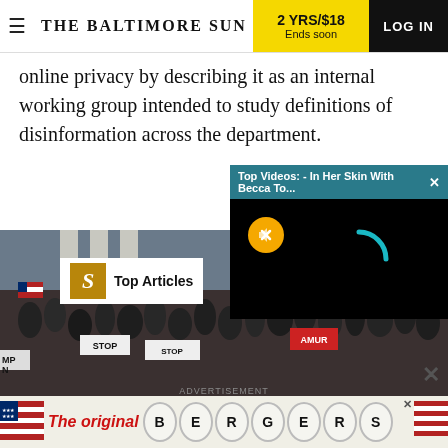THE BALTIMORE SUN | 2 YRS/$18 Ends soon | LOG IN
online privacy by describing it as an internal working group intended to study definitions of disinformation across the department.
But many Republicans... unconvinced about th...
[Figure (screenshot): Top Videos popup overlay with teal header reading 'Top Videos: - In Her Skin With Becca To...' and a black video area with a gold mute button and teal loading spinner arc]
[Figure (photo): Crowd of people at a political rally/protest, some holding flags and signs including 'STOP' signs, in front of a building with columns]
Top Articles
ADVERTISEMENT
[Figure (infographic): Advertisement banner reading 'The original BERGERS' with American flag imagery on both sides and letters B E R G E R S in oval circles]